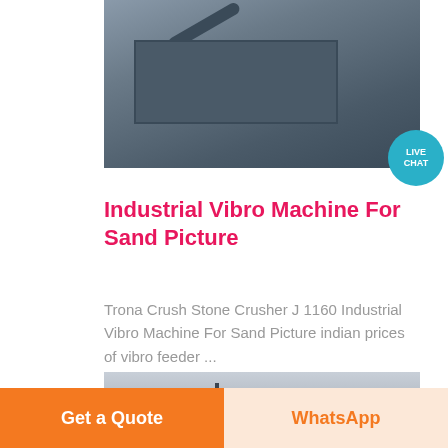[Figure (photo): Industrial machinery/conveyor equipment at a facility, partially visible at top of page]
[Figure (infographic): Live Chat badge — teal circle with 'LIVE CHAT' text overlapping a dark navy speech bubble]
Industrial Vibro Machine For Sand Picture
Trona Crush Stone Crusher J 1160 Industrial Vibro Machine For Sand Picture indian prices of vibro feeder ...
[Figure (photo): Large industrial hopper/bin structure (dark grey/blue) on steel legs, photographed against overcast sky]
Get a Quote
WhatsApp